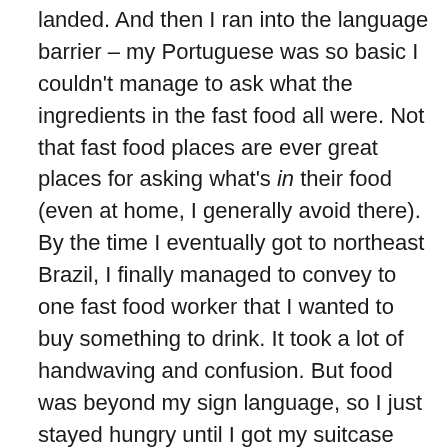landed. And then I ran into the language barrier – my Portuguese was so basic I couldn't manage to ask what the ingredients in the fast food all were. Not that fast food places are ever great places for asking what's in their food (even at home, I generally avoid there). By the time I eventually got to northeast Brazil, I finally managed to convey to one fast food worker that I wanted to buy something to drink. It took a lot of handwaving and confusion. But food was beyond my sign language, so I just stayed hungry until I got my suitcase and could unpack some of the snacks I'd brought along.
This year, I get to spend even longer travelling, because I have a longer layover. At least it's in the States, where they speak English. So my chances of starving are pretty slim, not to mention the fact I'm slightly more confident in Portuguese now (though I'm afraid I'll never be fluent!).